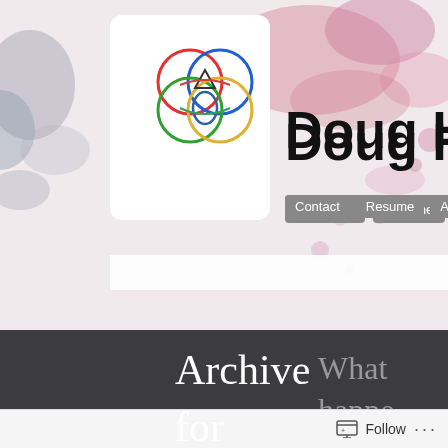[Figure (screenshot): Website screenshot of Doug Hughes personal blog. Shows a header with a circular colorful logo, site name 'Doug Hug' (cropped), navigation buttons for Contact, Resume, About. Watercolor/paint splash background in pinks and grays. Main content area shows 'Archive for September, 2009' on a dark charcoal banner. Right sidebar shows 'What happened to Alagad?' text. Below shows 'INTRO TO' heading and 'Hi! I'' text. Bottom has a Follow bar.]
Doug Hug
Archive for September, 2009
What happened to Alagad?
INTRO TO
Hi
!
I'
Follow ...